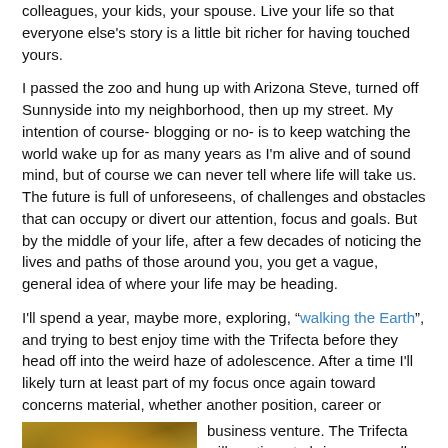colleagues, your kids, your spouse. Live your life so that everyone else's story is a little bit richer for having touched yours.
I passed the zoo and hung up with Arizona Steve, turned off Sunnyside into my neighborhood, then up my street. My intention of course- blogging or no- is to keep watching the world wake up for as many years as I'm alive and of sound mind, but of course we can never tell where life will take us. The future is full of unforeseens, of challenges and obstacles that can occupy or divert our attention, focus and goals. But by the middle of your life, after a few decades of noticing the lives and paths of those around you, you get a vague, general idea of where your life may be heading.
I'll spend a year, maybe more, exploring, “walking the Earth”, and trying to best enjoy time with the Trifecta before they head off into the weird haze of adolescence. After a time I'll likely turn at least part of my focus once again toward concerns material, whether another position, career or business venture. The Trifecta will continue to bring us- as all children
[Figure (photo): A photo showing autumn foliage with orange and yellow leaves, with a hand making a peace sign visible in the lower portion.]